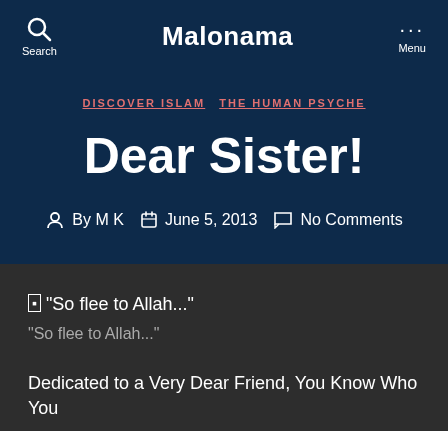Malonama
DISCOVER ISLAM  THE HUMAN PSYCHE
Dear Sister!
By M K  June 5, 2013  No Comments
[Figure (photo): Broken image placeholder with alt text “So flee to Allah…”]
“So flee to Allah…”
Dedicated to a Very Dear Friend, You Know Who You